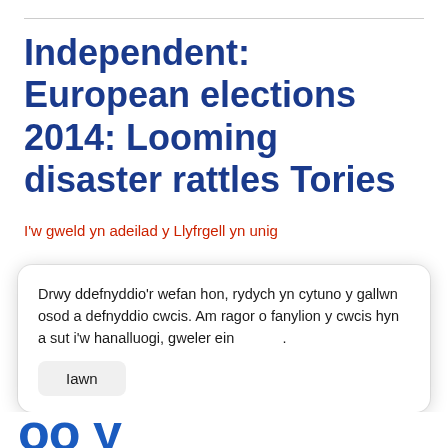Independent: European elections 2014: Looming disaster rattles Tories
I'w gweld yn adeilad y Llyfrgell yn unig
http://www.independent.co.uk/news/uk/politics/european-elections-2014-looming-disaster-rattles-tories-9432146.html
Drwy ddefnyddio'r wefan hon, rydych yn cytuno y gallwn osod a defnyddio cwcis. Am ragor o fanylion y cwcis hyn a sut i'w hanalluogi, gweler ein .
Iawn